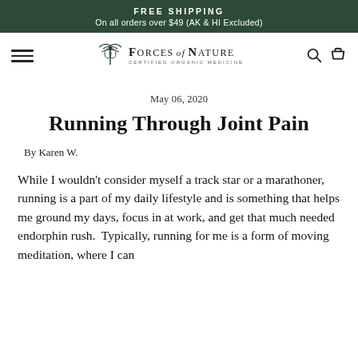FREE SHIPPING
On all orders over $49 (AK & HI Excluded)
[Figure (logo): Forces of Nature Certified Organic Medicine logo with caduceus/wing emblem]
May 06, 2020
Running Through Joint Pain
By Karen W.
While I wouldn't consider myself a track star or a marathoner, running is a part of my daily lifestyle and is something that helps me ground my days, focus in at work, and get that much needed endorphin rush.  Typically, running for me is a form of moving meditation, where I can